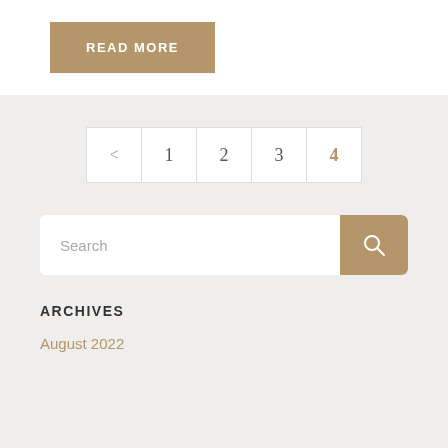READ MORE
[Figure (other): Pagination navigation with arrow < and page numbers 1 2 3 4]
[Figure (other): Search input field with brown search button icon]
ARCHIVES
August 2022